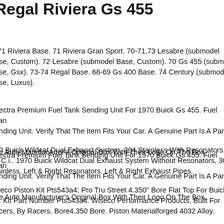Regal Riviera Gs 455
-71 Riviera Base. 71 Riviera Gran Sport. 70-71,73 Lesabre (submodel base, Custom). 72 Lesabre (submodel Base, Custom). 70 Gs 455 (submodel base, Gsx). 73-74 Regal Base. 68-69 Gs 400 Base. 74 Century (submodel base, Luxus).
pectra Premium Fuel Tank Sending Unit For 1970 Buick Gs 455. Fuel Tank Sending Unit. Verify That The Item Fits Your Car. A Genuine Part Is A Part In the Auto Manufacturer's Original Box With Their Logo On The Box.
pectra Premium Fuel Tank Sending Unit For 1970 Buick Gs 455. Fuel Tank Sending Unit. Verify That The Item Fits Your Car. A Genuine Part Is A Part In the Auto Manufacturer's Original Box With Their Logo On The Box.
70 Buick Wildcat Dual Exhaust System, 304 Stainless With Resonators, 5 C.i.. 1970 Buick Wildcat Dual Exhaust System Without Resonators, 304 Stainless. Left & Right Resonators. Left & Right Exhaust Pipes.
Wiseco Piston Kit Pts543a4; Pro Tru Street 4.350" Bore Flat Top For Buick 455. Kit Part Number Pts543a4. Wiseco Performance Products, Built For Racers, By Racers. Bore4.350 Bore. Piston Materialforged 4032 Alloy.